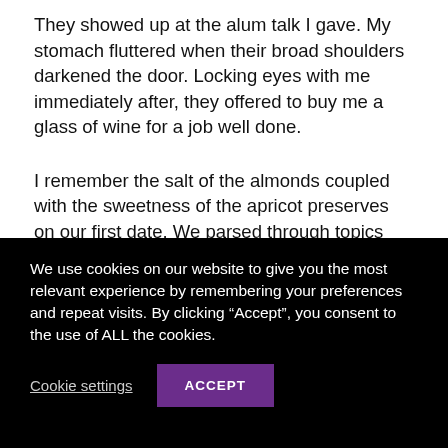They showed up at the alum talk I gave. My stomach fluttered when their broad shoulders darkened the door. Locking eyes with me immediately after, they offered to buy me a glass of wine for a job well done.
I remember the salt of the almonds coupled with the sweetness of the apricot preserves on our first date. We parsed through topics until closing, polishing off the charcuterie,, and two glasses of white wine in, I leaned into the butterflies that I
We use cookies on our website to give you the most relevant experience by remembering your preferences and repeat visits. By clicking “Accept”, you consent to the use of ALL the cookies.
Cookie settings
ACCEPT